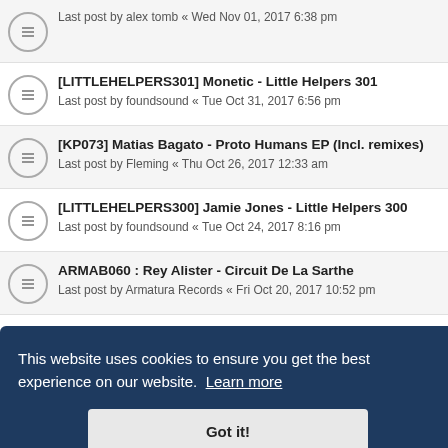Last post by alex tomb « Wed Nov 01, 2017 6:38 pm
[LITTLEHELPERS301] Monetic - Little Helpers 301
Last post by foundsound « Tue Oct 31, 2017 6:56 pm
[KP073] Matias Bagato - Proto Humans EP (Incl. remixes)
Last post by Fleming « Thu Oct 26, 2017 12:33 am
[LITTLEHELPERS300] Jamie Jones - Little Helpers 300
Last post by foundsound « Tue Oct 24, 2017 8:16 pm
ARMAB060 : Rey Alister - Circuit De La Sarthe
Last post by Armatura Records « Fri Oct 20, 2017 10:52 pm
[FM073] Pablo Rez - Cycles EP (Incl. remixes)
...ers 299
...298
[LITTLEHELPERS297] Mimida - Little Helpers 297
This website uses cookies to ensure you get the best experience on our website. Learn more
Got it!